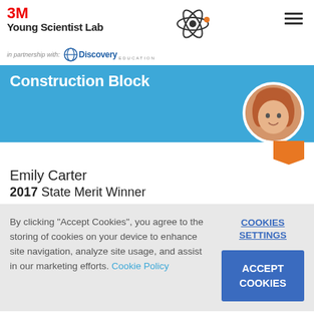3M Young Scientist Lab in partnership with Discovery Education
Construction Block
Emily Carter
2017 State Merit Winner
By clicking "Accept Cookies", you agree to the storing of cookies on your device to enhance site navigation, analyze site usage, and assist in our marketing efforts. Cookie Policy
COOKIES SETTINGS
ACCEPT COOKIES